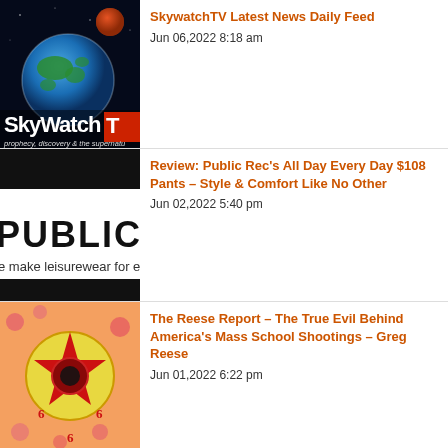[Figure (screenshot): SkyWatchTV logo with globe and planet, text 'SkyWatchTV prophecy, discovery & the supernatural']
SkywatchTV Latest News Daily Feed
Jun 06,2022 8:18 am
[Figure (logo): Public Rec logo on black background with text 'PUBLIC REC' and tagline 'e make leisurewear for everywhe']
Review: Public Rec's All Day Every Day $108 Pants – Style & Comfort Like No Other
Jun 02,2022 5:40 pm
[Figure (illustration): Stylized red star/occult symbol with 666 numbers on orange background]
The Reese Report – The True Evil Behind America's Mass School Shootings – Greg Reese
Jun 01,2022 6:22 pm